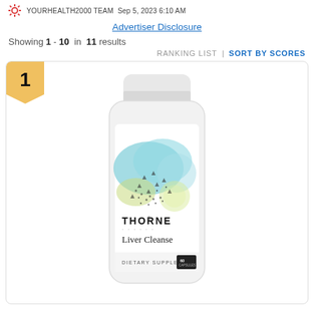YOURHEALTH2000 TEAM · Sep 5, 2023 6:10 AM
Advertiser Disclosure
Showing 1 - 10 in 11 results
RANKING LIST | SORT BY SCORES
[Figure (photo): Thorne Liver Cleanse dietary supplement bottle, white with colorful watercolor abstract design (blue and green blobs with scattered dots), showing product name 'THORNE Liver Cleanse DIETARY SUPPLEMENT 60 CAPSULES'. Ranked #1 in a product listing.]